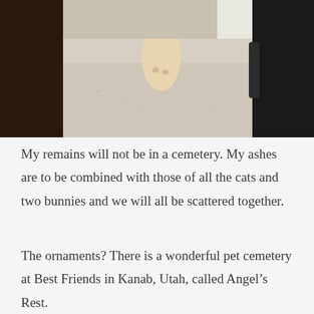[Figure (photo): A close-up photo of a cat's paw/leg on a light-colored countertop surface, with dark objects on either side (wooden cabinet on left, dark device on right).]
My remains will not be in a cemetery. My ashes are to be combined with those of all the cats and two bunnies and we will all be scattered together.
The ornaments? There is a wonderful pet cemetery at Best Friends in Kanab, Utah, called Angel's Rest.
There are many wind chimes there and people lay memorial stones and other items there. Maybe there will still be room.